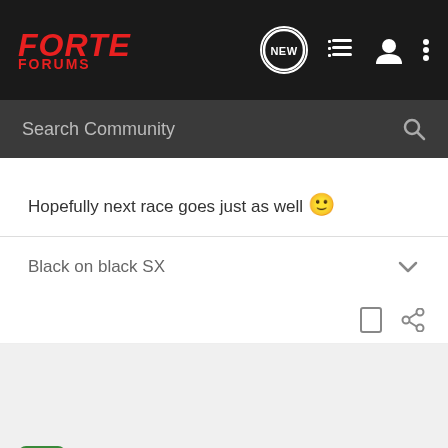FORTE FORUMS
Hopefully next race goes just as well 🙂
Black on black SX
boostedscooby · Registered